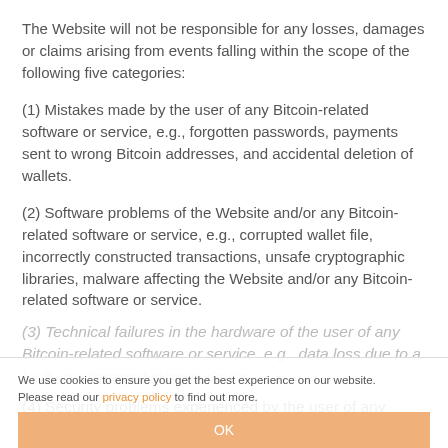The Website will not be responsible for any losses, damages or claims arising from events falling within the scope of the following five categories:
(1) Mistakes made by the user of any Bitcoin-related software or service, e.g., forgotten passwords, payments sent to wrong Bitcoin addresses, and accidental deletion of wallets.
(2) Software problems of the Website and/or any Bitcoin-related software or service, e.g., corrupted wallet file, incorrectly constructed transactions, unsafe cryptographic libraries, malware affecting the Website and/or any Bitcoin-related software or service.
(3) Technical failures in the hardware of the user of any Bitcoin-related software or service, e.g., data loss due to a faulty or damaged storage device.
(4) Security problems experienced by the user of any
We use cookies to ensure you get the best experience on our website. Please read our privacy policy to find out more. OK